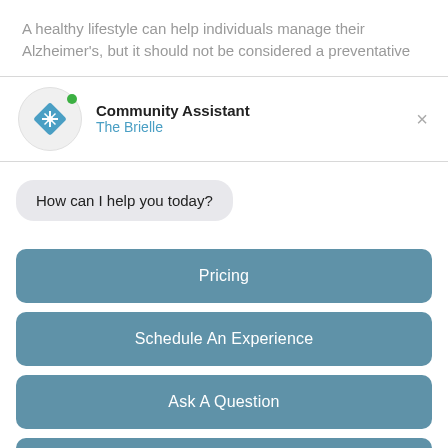A healthy lifestyle can help individuals manage their Alzheimer's, but it should not be considered a preventative
[Figure (screenshot): Chat widget header showing Community Assistant icon with online green dot, name 'Community Assistant', subtitle 'The Brielle', and close X button]
How can I help you today?
Pricing
Schedule An Experience
Ask A Question
Show More